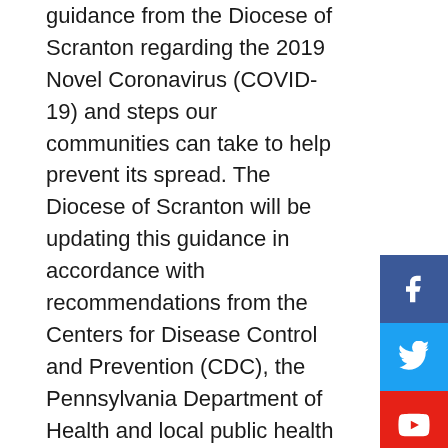guidance from the Diocese of Scranton regarding the 2019 Novel Coronavirus (COVID-19) and steps our communities can take to help prevent its spread. The Diocese of Scranton will be updating this guidance in accordance with recommendations from the Centers for Disease Control and Prevention (CDC), the Pennsylvania Department of Health and local public health officials.
General Prevention and Preparedness
The health and safety of our parishioners, staff, students, families and clients that we serve are of paramount interest to the Diocese of Scranton. While there is much to